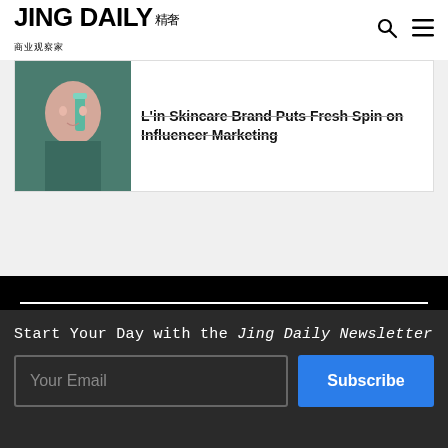JING DAILY 精奢
[Figure (screenshot): Article card showing a woman holding a skincare product against a green background, with headline text about a skincare brand putting a spin on influencer marketing]
L'in Skincare Brand Puts Fresh Spin on Influencer Marketing
[Figure (screenshot): Jing Meta Webinar banner with white text on black background reading CREATING LUXURY IN THE METAVERSE]
Start Your Day with the Jing Daily Newsletter
Your Email
Subscribe